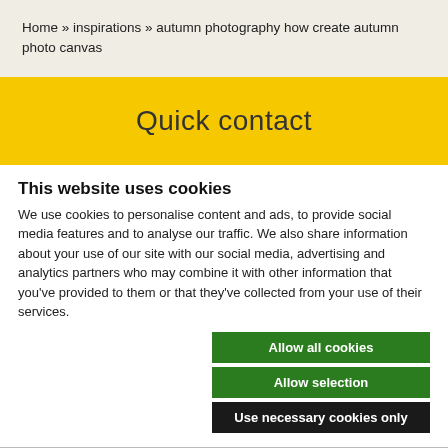Home » inspirations » autumn photography how create autumn photo canvas
Quick contact
This website uses cookies
We use cookies to personalise content and ads, to provide social media features and to analyse our traffic. We also share information about your use of our site with our social media, advertising and analytics partners who may combine it with other information that you've provided to them or that they've collected from your use of their services.
Allow all cookies
Allow selection
Use necessary cookies only
Necessary  Preferences  Statistics  Marketing  Show details